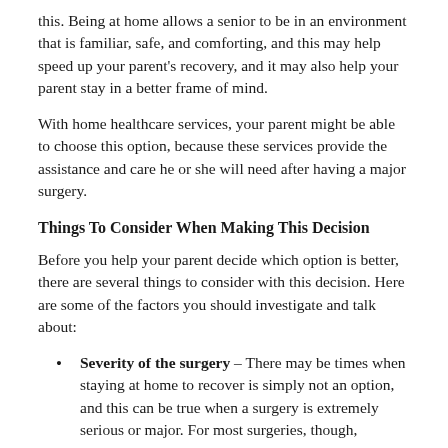this. Being at home allows a senior to be in an environment that is familiar, safe, and comforting, and this may help speed up your parent's recovery, and it may also help your parent stay in a better frame of mind.
With home healthcare services, your parent might be able to choose this option, because these services provide the assistance and care he or she will need after having a major surgery.
Things To Consider When Making This Decision
Before you help your parent decide which option is better, there are several things to consider with this decision. Here are some of the factors you should investigate and talk about:
Severity of the surgery – There may be times when staying at home to recover is simply not an option, and this can be true when a surgery is extremely serious or major. For most surgeries, though, recovering at home would be a good option.
The approximate time it would take to recover – If your parent should be able to get back to...